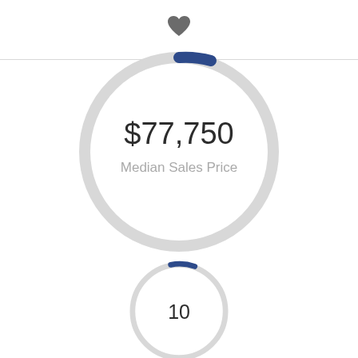[Figure (donut-chart): Median Sales Price]
[Figure (donut-chart): 10]